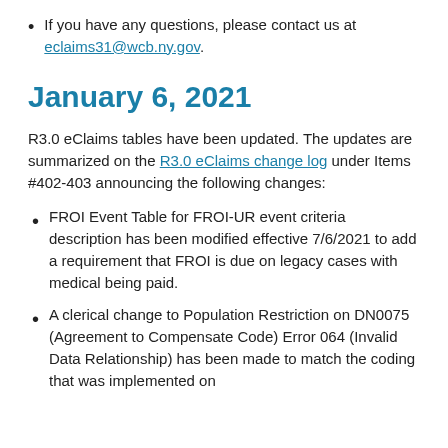If you have any questions, please contact us at eclaims31@wcb.ny.gov.
January 6, 2021
R3.0 eClaims tables have been updated. The updates are summarized on the R3.0 eClaims change log under Items #402-403 announcing the following changes:
FROI Event Table for FROI-UR event criteria description has been modified effective 7/6/2021 to add a requirement that FROI is due on legacy cases with medical being paid.
A clerical change to Population Restriction on DN0075 (Agreement to Compensate Code) Error 064 (Invalid Data Relationship) has been made to match the coding that was implemented on